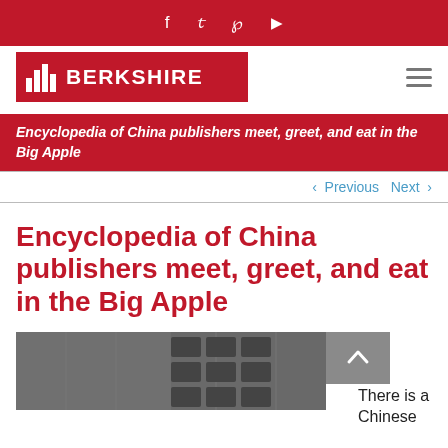f  ✦  𝕡  ▶
[Figure (logo): Berkshire Publishing logo — red background with white mountain/bar chart icon and white bold text 'BERKSHIRE']
Encyclopedia of China publishers meet, greet, and eat in the Big Apple
< Previous   Next >
Encyclopedia of China publishers meet, greet, and eat in the Big Apple
[Figure (photo): Black and white photograph showing a display or installation]
There is a Chinese